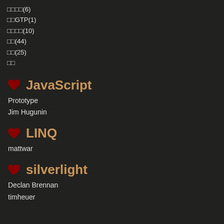□□□□(6)
□□GTP(1)
□□□□(10)
□□(44)
□□(25)
□□
JavaScript
Prototype
Jim Hugunin
LINQ
mattwar
silverlight
Declan Brennan
timheuer